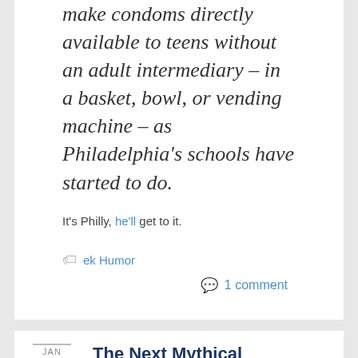make condoms directly available to teens without an adult intermediary – in a basket, bowl, or vending machine – as Philadelphia's schools have started to do.
It's Philly, he'll get to it.
ek Humor
1 comment
The Next Mythical Cliff: The Debt Ceiling
By TMC in Barack Obama, Economy, Politics
JAN 04 2013